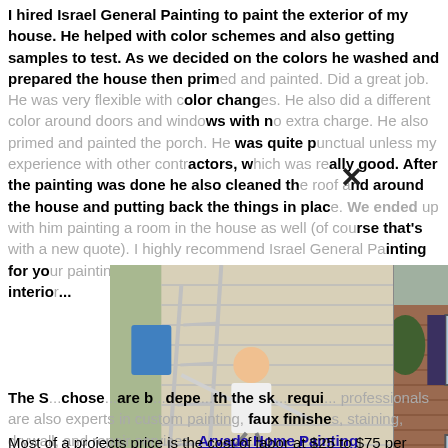I hired Israel General Painting to paint the exterior of my house. He helped with color schemes and also getting samples to test. As we decided on the colors he washed and prepared the house then primed and painted. Did a great job. He was very flexible with color changes. He also did a different color around doors and windows with no extra charge. He also primed and painted the porch. He was quite punctual unless my experience with other contractors, which was really good. After the painting was done he also cleaned the roof and around the house and putting back the things in place. We ended up with him painting a room in the house as well (of course that's with a new quote). I highly recommend Israel General Painting for your painting needs. I plan on hiring Israel again to paint the interior... ers CO
[Figure (photo): Three photos side by side showing people on ladders near house exteriors and indoors]
The S... chose... are b... depe... the sk... requi... professionals are also experts in custom painting, faux finishes, staining, drywall, and repair services. Arvada Home Painting
Most of a projects price is the cost of labor at $25 to $75 per hour. However, most contractors bid out based on the entire